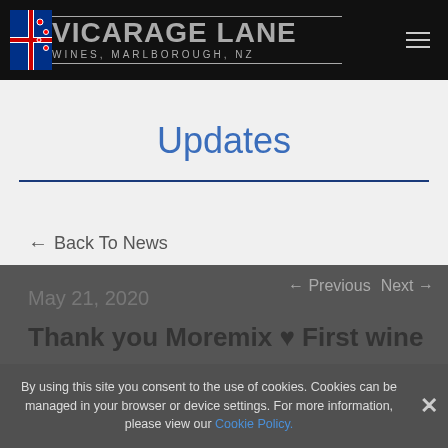Vicarage Lane Wines, Marlborough, NZ
Updates
← Back To News
← Previous   Next →
May 21, 2020
Thank you Moremix ♥ First wine
By using this site you consent to the use of cookies. Cookies can be managed in your browser or device settings. For more information, please view our Cookie Policy.